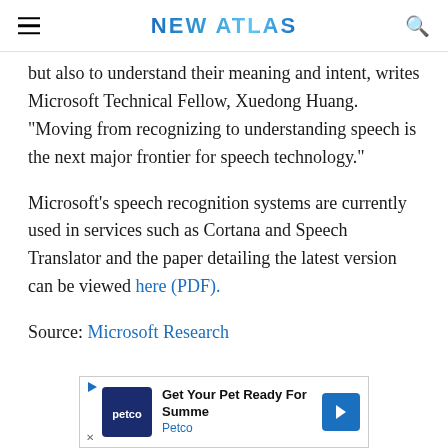NEW ATLAS
but also to understand their meaning and intent, writes Microsoft Technical Fellow, Xuedong Huang. "Moving from recognizing to understanding speech is the next major frontier for speech technology."
Microsoft's speech recognition systems are currently used in services such as Cortana and Speech Translator and the paper detailing the latest version can be viewed here (PDF).
Source: Microsoft Research
[Figure (other): Petco advertisement banner: Get Your Pet Ready For Summer]